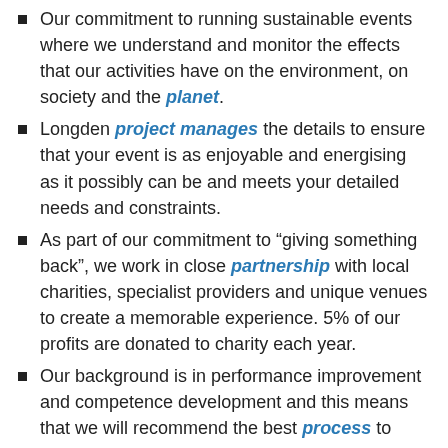Our commitment to running sustainable events where we understand and monitor the effects that our activities have on the environment, on society and the planet.
Longden project manages the details to ensure that your event is as enjoyable and energising as it possibly can be and meets your detailed needs and constraints.
As part of our commitment to “giving something back”, we work in close partnership with local charities, specialist providers and unique venues to create a memorable experience. 5% of our profits are donated to charity each year.
Our background is in performance improvement and competence development and this means that we will recommend the best process to achieve your outcomes.